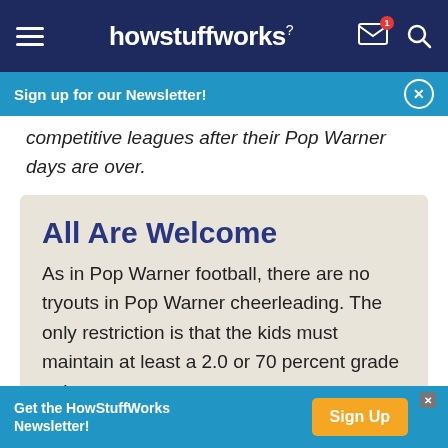howstuffworks
Sign up for our Newsletter!
competitive leagues after their Pop Warner days are over.
All Are Welcome
As in Pop Warner football, there are no tryouts in Pop Warner cheerleading. The only restriction is that the kids must maintain at least a 2.0 or 70 percent grade point average.
Get the HowStuffWorks Newsletter!